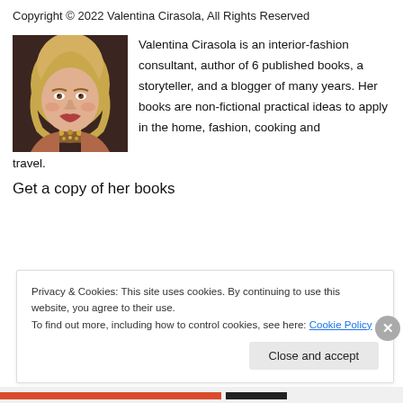Copyright © 2022 Valentina Cirasola, All Rights Reserved
[Figure (photo): Portrait photo of Valentina Cirasola, a blonde woman wearing a decorative beaded accessory around her neck, photographed against a dark background.]
Valentina Cirasola is an interior-fashion consultant, author of 6 published books, a storyteller, and a blogger of many years. Her books are non-fictional practical ideas to apply in the home, fashion, cooking and travel.
Get a copy of her books
Privacy & Cookies: This site uses cookies. By continuing to use this website, you agree to their use.
To find out more, including how to control cookies, see here: Cookie Policy